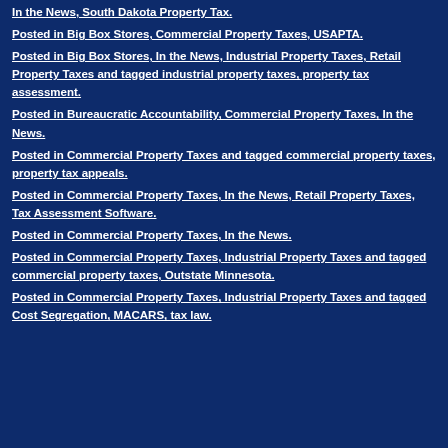In the News, South Dakota Property Tax.
Posted in Big Box Stores, Commercial Property Taxes, USAPTA.
Posted in Big Box Stores, In the News, Industrial Property Taxes, Retail Property Taxes and tagged industrial property taxes, property tax assessment.
Posted in Bureaucratic Accountability, Commercial Property Taxes, In the News.
Posted in Commercial Property Taxes and tagged commercial property taxes, property tax appeals.
Posted in Commercial Property Taxes, In the News, Retail Property Taxes, Tax Assessment Software.
Posted in Commercial Property Taxes, In the News.
Posted in Commercial Property Taxes, Industrial Property Taxes and tagged commercial property taxes, Outstate Minnesota.
Posted in Commercial Property Taxes, Industrial Property Taxes and tagged Cost Segregation, MACARS, tax law.